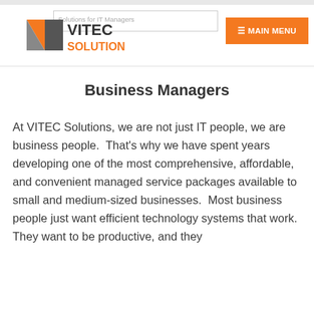Solutions for IT Managers | VITEC SOLUTIONS | ☰ MAIN MENU
Business Managers
At VITEC Solutions, we are not just IT people, we are business people.  That's why we have spent years developing one of the most comprehensive, affordable, and convenient managed service packages available to small and medium-sized businesses.  Most business people just want efficient technology systems that work.  They want to be productive, and they